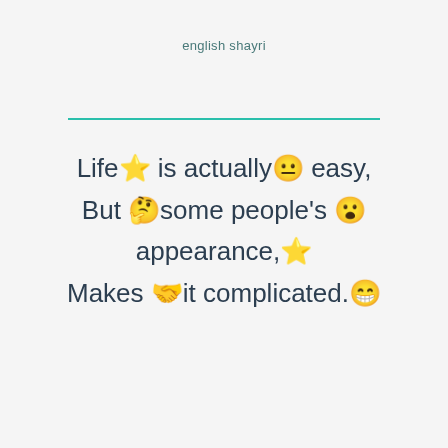english shayri
Life⭐ is actually😐 easy,
But 🤔some people's 😮appearance,⭐
Makes 🤝it complicated.😁